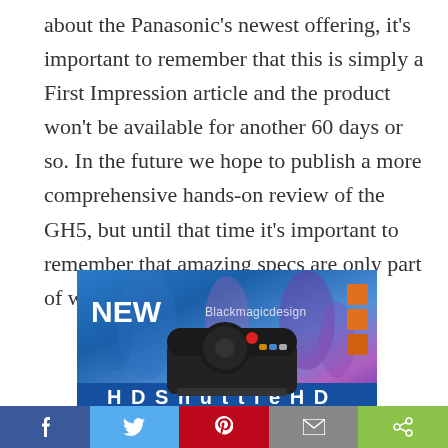about the Panasonic's newest offering, it's important to remember that this is simply a First Impression article and the product won't be available for another 60 days or so. In the future we hope to publish a more comprehensive hands-on review of the GH5, but until that time it's important to remember that amazing specs are only part of what make a great camera great.
[Figure (photo): Advertisement banner for Blackmagic Design showing a new product (controller/shuttle device) with blue and purple background, orange square icons, 'NEW' text, and 'Blackmagicdesign' branding. Bottom portion shows partial text of product name.]